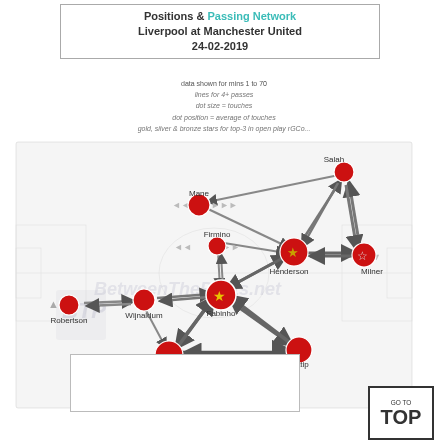Positions & Passing Network Liverpool at Manchester United 24-02-2019
data shown for mins 1 to 70
lines for 4+ passes
dot size = touches
dot position = average of touches
gold, silver & bronze stars for top-3 in open play rGCo...
[Figure (network-graph): Passing network diagram for Liverpool at Manchester United (24-02-2019). Red circles represent players positioned on a football pitch graphic. Players shown: Salah (top right), Henderson, Milner (with stars), Mane, Firmino, Fabinho (gold star), Wijnaldum, Robertson, van Dijk, Matip, Becker. Arrows between players show passing connections with thickness indicating pass frequency. Arrow directions show pass direction. Background shows a faded football pitch outline with BetweenThePosts.net watermark.]
GO TO TOP